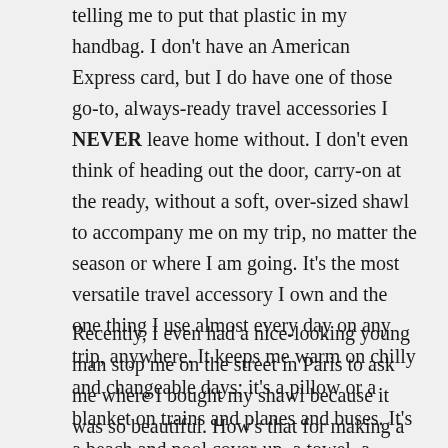telling me to put that plastic in my handbag. I don't have an American Express card, but I do have one of those go-to, always-ready travel accessories I NEVER leave home without. I don't even think of heading out the door, carry-on at the ready, without a soft, over-sized shawl to accompany me on my trip, no matter the season or where I am going. It's the most versatile travel accessory I own and the one thing I use almost every day on any trip, anywhere. It keeps me warm on chilly and changeable days; it's a pillow or a blanket on trains and planes and buses. It's a beach and pool cover-up, a towel, a cultural emergency solver and a fashion statement.
Recently, I even had a nice-looking young man stop me on the street in Paris to ask me where I bought my shawl because it was so beautiful. How's that for making a statement? (And for making you feel young and sexy